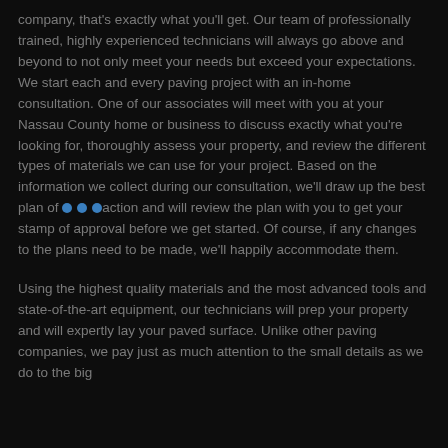company, that's exactly what you'll get. Our team of professionally trained, highly experienced technicians will always go above and beyond to not only meet your needs but exceed your expectations. We start each and every paving project with an in-home consultation. One of our associates will meet with you at your Nassau County home or business to discuss exactly what you're looking for, thoroughly assess your property, and review the different types of materials we can use for your project. Based on the information we collect during our consultation, we'll draw up the best plan of action and will review the plan with you to get your stamp of approval before we get started. Of course, if any changes to the plans need to be made, we'll happily accommodate them.
Using the highest quality materials and the most advanced tools and state-of-the-art equipment, our technicians will prep your property and will expertly lay your paved surface. Unlike other paving companies, we pay just as much attention to the small details as we do to the big...